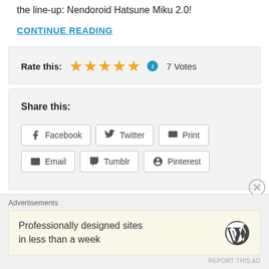the line-up: Nendoroid Hatsune Miku 2.0!
CONTINUE READING
Rate this: ★★★★★ ℹ 7 Votes
Share this:
Facebook
Twitter
Print
Email
Tumblr
Pinterest
Advertisements
Professionally designed sites in less than a week